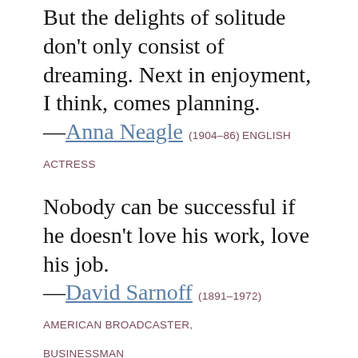But the delights of solitude don't only consist of dreaming. Next in enjoyment, I think, comes planning.
—Anna Neagle (1904–86) ENGLISH ACTRESS
Nobody can be successful if he doesn't love his work, love his job.
—David Sarnoff (1891–1972) AMERICAN BROADCASTER, BUSINESSMAN
I'm a firm believer that in the theory that people only do their best at things they truly enjoy. It is difficult to excel at something you don't enjoy.
—Jack Nicklaus (B. 1940) AMERICAN SPORTSPERSON